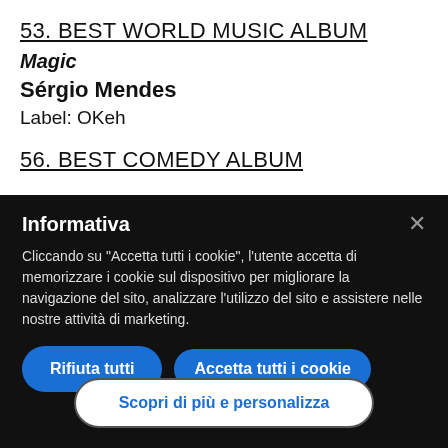53. BEST WORLD MUSIC ALBUM
Magic
Sérgio Mendes
Label: OKeh
56. BEST COMEDY ALBUM
Informativa
Cliccando su "Accetta tutti i cookie", l'utente accetta di memorizzare i cookie sul dispositivo per migliorare la navigazione del sito, analizzare l'utilizzo del sito e assistere nelle nostre attività di marketing.
Rifiuta tutti
Accetta tutti i cookie
Scopri di più e personalizza